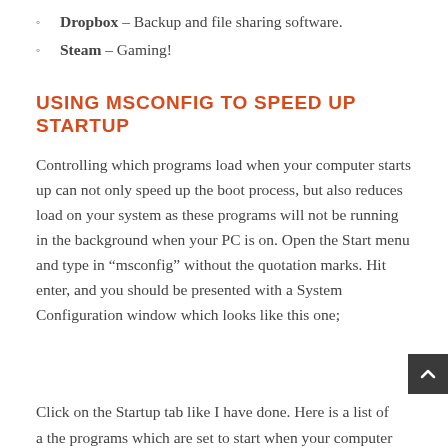Dropbox – Backup and file sharing software.
Steam – Gaming!
USING MSCONFIG TO SPEED UP STARTUP
Controlling which programs load when your computer starts up can not only speed up the boot process, but also reduces load on your system as these programs will not be running in the background when your PC is on. Open the Start menu and type in “msconfig” without the quotation marks. Hit enter, and you should be presented with a System Configuration window which looks like this one;
Click on the Startup tab like I have done. Here is a list of a the programs which are set to start when your computer boots, and it’s pretty obvious that you don’t need things like